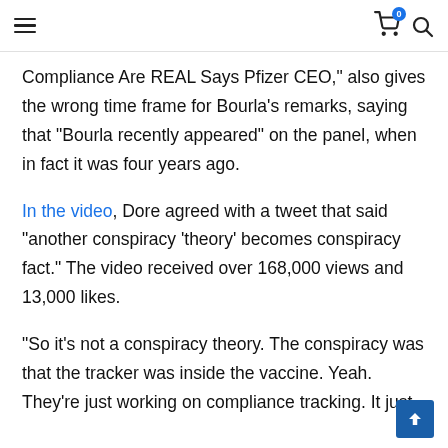Navigation header with hamburger menu, cart icon (badge: 0), and search icon
Compliance Are REAL Says Pfizer CEO,” also gives the wrong time frame for Bourla’s remarks, saying that “Bourla recently appeared” on the panel, when in fact it was four years ago.
In the video, Dore agreed with a tweet that said “another conspiracy ‘theory’ becomes conspiracy fact.” The video received over 168,000 views and 13,000 likes.
“So it’s not a conspiracy theory. The conspiracy was that the tracker was inside the vaccine. Yeah. They’re just working on compliance tracking. It just